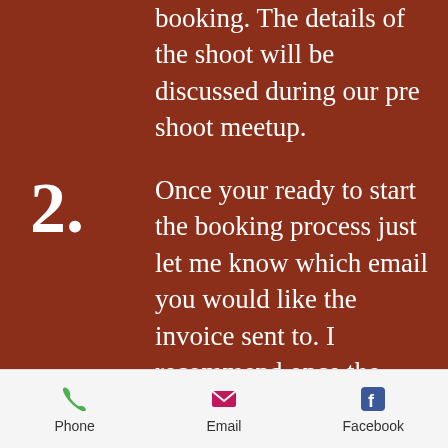booking. The details of the shoot will be discussed during our pre shoot meetup.
2. Once your ready to start the booking process just let me know which email you would like the invoice sent to. I recommend once the deposit is made that we set a tentative date for the pre
Phone  Email  Facebook